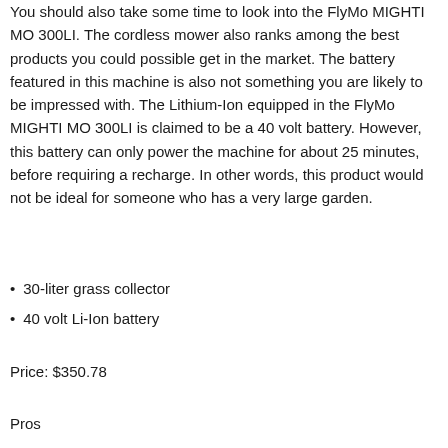You should also take some time to look into the FlyMo MIGHTI MO 300LI. The cordless mower also ranks among the best products you could possible get in the market. The battery featured in this machine is also not something you are likely to be impressed with. The Lithium-Ion equipped in the FlyMo MIGHTI MO 300LI is claimed to be a 40 volt battery. However, this battery can only power the machine for about 25 minutes, before requiring a recharge. In other words, this product would not be ideal for someone who has a very large garden.
30-liter grass collector
40 volt Li-Ion battery
Price: $350.78
Pros